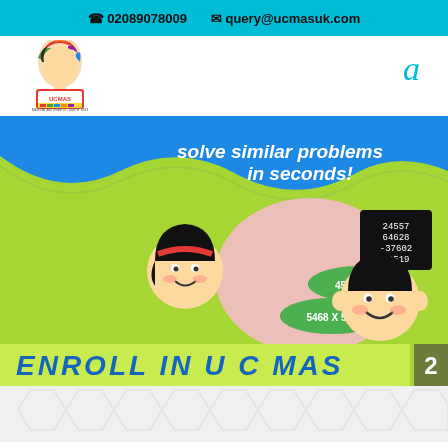📞 02089078009   📧 query@ucmasuk.com
[Figure (logo): UCMAS logo with colorful head figure and text 'MENTAL ARITHMETIC SINCE 1993']
[Figure (illustration): Promotional banner with blue and green background showing two cartoon children and math problems: 24557+64628-37602+84519, 4569÷879, 5468×562, with text 'solve similar problems in seconds!' and 'ENROLL IN U C MAS']
What can you do with